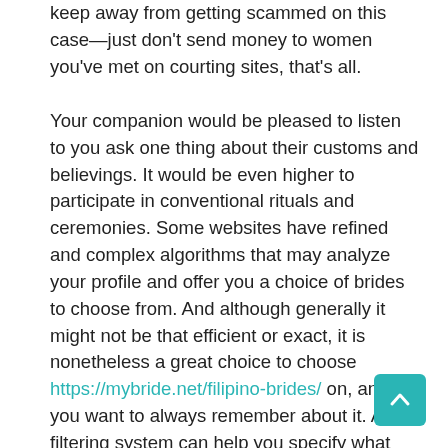keep away from getting scammed on this case—just don't send money to women you've met on courting sites, that's all.
Your companion would be pleased to listen to you ask one thing about their customs and believings. It would be even higher to participate in conventional rituals and ceremonies. Some websites have refined and complex algorithms that may analyze your profile and offer you a choice of brides to choose from. And although generally it might not be that efficient or exact, it is nonetheless a great choice to choose https://mybride.net/filipino-brides/ on, and you want to always remember about it. A filtering system can help you specify what type of lady you're on the lookout for, which is exceptionally helpful if you want your Philippines spouse price to be zero. What really is smart is the respect for the cultural options and fogeys. Philippine women on the lookout for marriage, but not intercourse on the primary good date.
At the same time, you will not be the only one who can